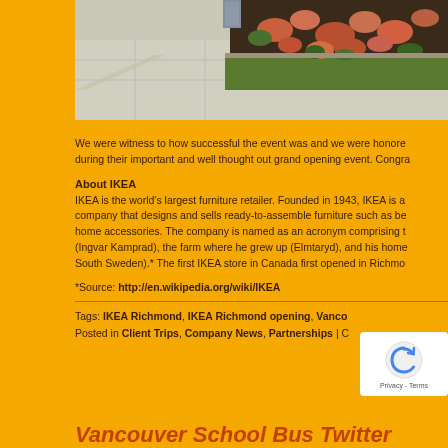[Figure (photo): Outdoor photo showing a paved area with planted flower beds containing orange/red flowers and green grass, taken at an IKEA store exterior]
We were witness to how successful the event was and we were honore during their important and well thought out grand opening event. Congra
About IKEA
IKEA is the world's largest furniture retailer. Founded in 1943, IKEA is a company that designs and sells ready-to-assemble furniture such as be home accessories. The company is named as an acronym comprising t (Ingvar Kamprad), the farm where he grew up (Elmtaryd), and his home South Sweden).* The first IKEA store in Canada first opened in Richmo
*Source: http://en.wikipedia.org/wiki/IKEA
Tags: IKEA Richmond, IKEA Richmond opening, Vanco
Posted in Client Trips, Company News, Partnerships | C
Vancouver School Bus Twitter